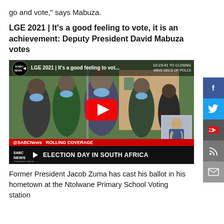go and vote," says Mabuza.
LGE 2021 | It's a good feeling to vote, it is an achievement: Deputy President David Mabuza votes
[Figure (screenshot): SABC News YouTube video thumbnail showing Deputy President David Mabuza and others wearing face masks at a voting station, with a red YouTube play button overlay. The video title reads 'LGE 2021 | It's a good feeling to vot...' with a timer showing 10:23:41. The lower bar shows '@SABCNews ROLLING COVERAGE' and 'ELECTION DAY IN SOUTH AFRICA'. A sign-language interpreter inset is visible.]
Former President Jacob Zuma has cast his ballot in his hometown at the Ntolwane Primary School Voting station